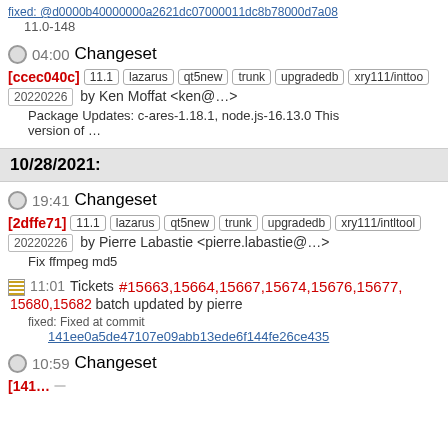fixed: @d0000b40000000a2621dc07000011dc8b78000d7a08 11.0-148
04:00 Changeset
[ccec040c] 11.1 lazarus qt5new trunk upgradedb xry111/intltool 20220226 by Ken Moffat <ken@…> Package Updates: c-ares-1.18.1, node.js-16.13.0 This version of …
10/28/2021:
19:41 Changeset
[2dffe71] 11.1 lazarus qt5new trunk upgradedb xry111/intltool 20220226 by Pierre Labastie <pierre.labastie@…> Fix ffmpeg md5
11:01 Tickets #15663,15664,15667,15674,15676,15677,15680,15682 batch updated by pierre fixed: Fixed at commit 141ee0a5de47107e09abb13ede6f144fe26ce435
10:59 Changeset